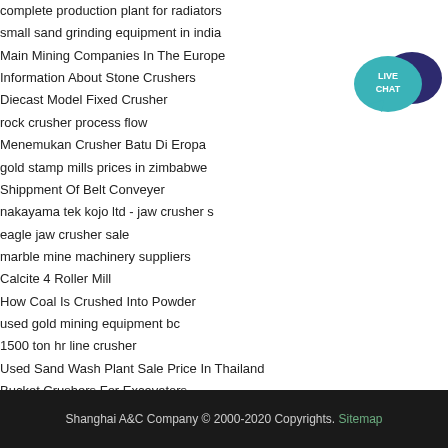complete production plant for radiators
small sand grinding equipment in india
Main Mining Companies In The Europe
Information About Stone Crushers
Diecast Model Fixed Crusher
rock crusher process flow
Menemukan Crusher Batu Di Eropa
gold stamp mills prices in zimbabwe
Shippment Of Belt Conveyer
nakayama tek kojo ltd - jaw crusher s
eagle jaw crusher sale
marble mine machinery suppliers
Calcite 4 Roller Mill
How Coal Is Crushed Into Powder
used gold mining equipment bc
1500 ton hr line crusher
Used Sand Wash Plant Sale Price In Thailand
Bucket Crushers For Excavators
[Figure (illustration): Live Chat button with speech bubble icon in teal and dark navy blue]
Shanghai A&C Company © 2000-2020 Copyrights. Sitemap